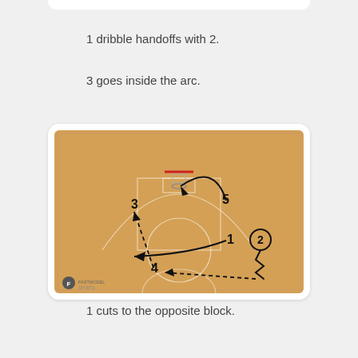1 dribble handoffs with 2.
3 goes inside the arc.
[Figure (other): Basketball court diagram showing players 1, 2, 3, 4, 5. Player 2 (circled) on the right wing dribbles (zigzag line) down. A dashed arrow shows a pass from player 2's position to player 4 at the bottom, and from player 4 up-left to player 3 at the left wing. Solid curved arrow from player 5 (elbow) arcs up to the basket. Player 1 cuts from right elbow toward left block.]
1 cuts to the opposite block.
2 passes to 4.
4 passes to a popping 3.